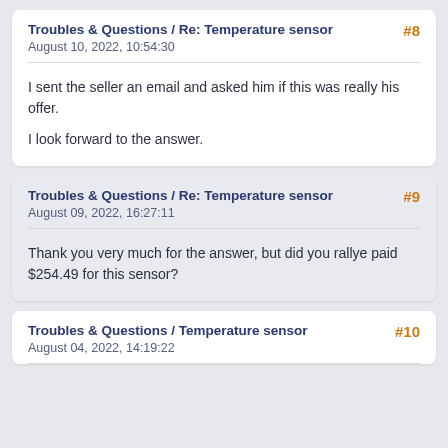Troubles & Questions / Re: Temperature sensor
August 10, 2022, 10:54:30
I sent the seller an email and asked him if this was really his offer.

I look forward to the answer.
Troubles & Questions / Re: Temperature sensor
August 09, 2022, 16:27:11
Thank you very much for the answer, but did you rallye paid $254.49 for this sensor?
Troubles & Questions / Temperature sensor
August 04, 2022, 14:19:22